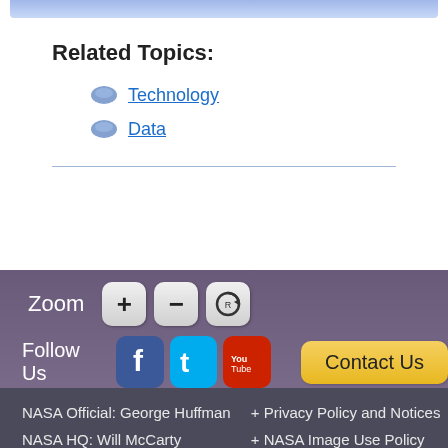Related Topics:
Technology
Data
[Figure (screenshot): Zoom controls row with plus, minus, and reset buttons on purple background]
[Figure (screenshot): Follow Us row with Facebook, Twitter, YouTube social media buttons and Contact Us button]
NASA Official: George Huffman
NASA HQ: Will McCarty
Web Curator: Charles Cosner
Webmaster: Jacob Reed
+ Privacy Policy and Notices
+ NASA Image Use Policy
+ Contact Us
+ Site Map